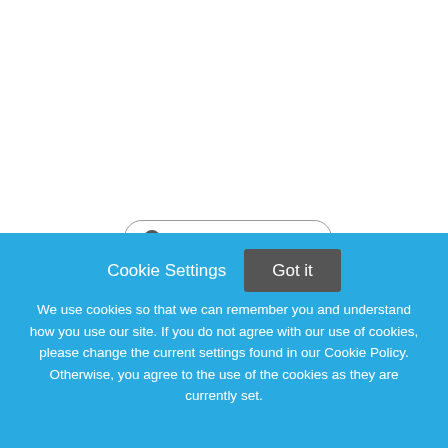← Return to Search Results
Pediatric Cardiac Intensivist – Community Private Practice
The Division of Pediatric Critical Care Medicine at the Joe
Cookie Settings
Got it
We use cookies so that we can remember you and understand how you use our site. If you do not agree with our use of cookies, please change the current settings found in our Cookie Policy. Otherwise, you agree to the use of the cookies as they are currently set.